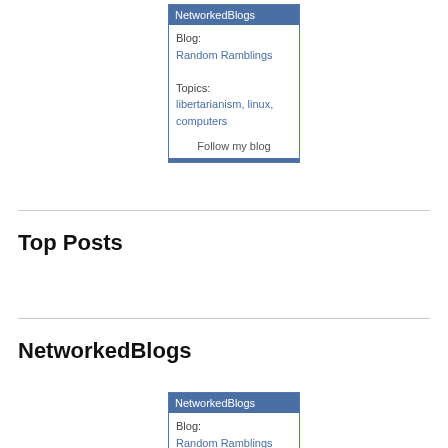[Figure (other): NetworkedBlogs widget showing Blog: Random Ramblings, Topics: libertarianism, linux, computers, with Follow my blog button]
Top Posts
Lawyers Write Law, And Then Are The Only Ones To Make Millions
NetworkedBlogs
[Figure (other): NetworkedBlogs widget showing Blog: Random Ramblings, Topics: Libertarianism, (truncated)]